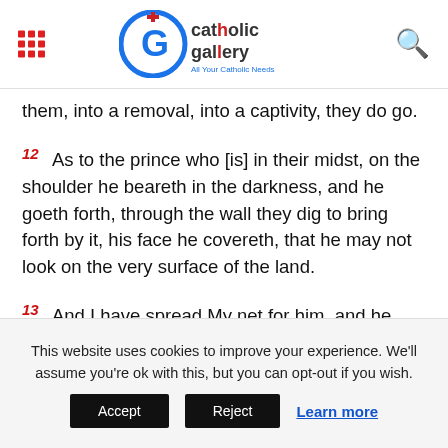Catholic Gallery – All Your Catholic Needs
them, into a removal, into a captivity, they do go.
12 As to the prince who [is] in their midst, on the shoulder he beareth in the darkness, and he goeth forth, through the wall they dig to bring forth by it, his face he covereth, that he may not look on the very surface of the land.
13 And I have spread My net for him, and he hath been caught in My snare, and I have brought him in to Babylon, the land of the Chaldeans, and it he doth not see — and there doth he die.
This website uses cookies to improve your experience. We'll assume you're ok with this, but you can opt-out if you wish.